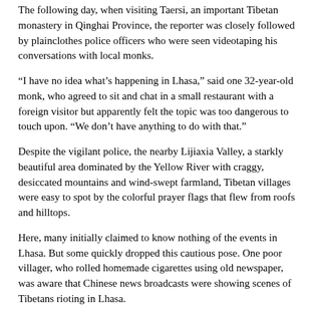The following day, when visiting Taersi, an important Tibetan monastery in Qinghai Province, the reporter was closely followed by plainclothes police officers who were seen videotaping his conversations with local monks.
“I have no idea what’s happening in Lhasa,” said one 32-year-old monk, who agreed to sit and chat in a small restaurant with a foreign visitor but apparently felt the topic was too dangerous to touch upon. “We don’t have anything to do with that.”
Despite the vigilant police, the nearby Lijiaxia Valley, a starkly beautiful area dominated by the Yellow River with craggy, desiccated mountains and wind-swept farmland, Tibetan villages were easy to spot by the colorful prayer flags that flew from roofs and hilltops.
Here, many initially claimed to know nothing of the events in Lhasa. But some quickly dropped this cautious pose. One poor villager, who rolled homemade cigarettes using old newspaper, was aware that Chinese news broadcasts were showing scenes of Tibetans rioting in Lhasa.
“Have there been any pictures of Tibetans getting killed?” he asked. When told no, he nodded and said, “Of course not.”
↩ Reply